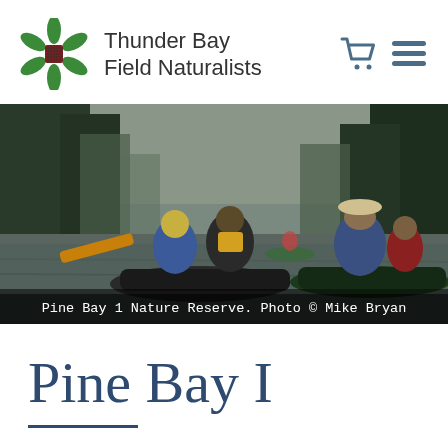Thunder Bay Field Naturalists
[Figure (photo): People canoeing on a misty river through forested landscape at Pine Bay 1 Nature Reserve]
Pine Bay 1 Nature Reserve. Photo © Mike Bryan
Pine Bay I